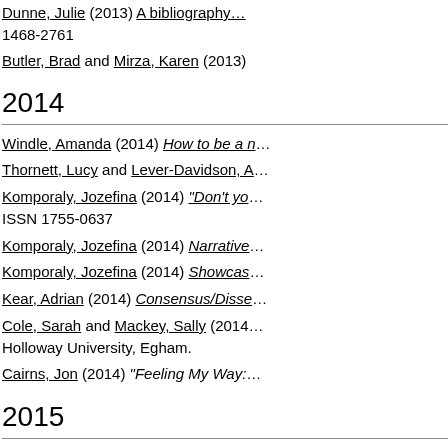Dunne, Julie (2013) A bibliography... 1468-2761
Butler, Brad and Mirza, Karen (2013)
2014
Windle, Amanda (2014) How to be a ...
Thornett, Lucy and Lever-Davidson, A...
Komporaly, Jozefina (2014) "Don't yo... ISSN 1755-0637
Komporaly, Jozefina (2014) Narrative...
Komporaly, Jozefina (2014) Showcas...
Kear, Adrian (2014) Consensus/Disse...
Cole, Sarah and Mackey, Sally (2014)... Holloway University, Egham.
Cairns, Jon (2014) "Feeling My Way:...
2015
Visniec, Matéi and Komporaly, Jozefin... Calcutta. ISBN 9780857422200